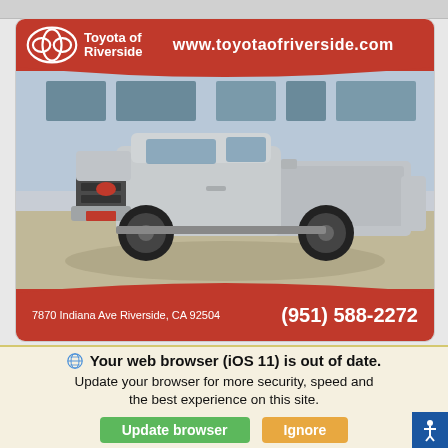[Figure (photo): Toyota dealership advertisement showing a silver Toyota Tacoma pickup truck parked in a dealer lot. Header shows Toyota of Riverside logo and website www.toyotaofriverside.com on red background. Footer shows address 7870 Indiana Ave Riverside, CA 92504 and phone (951) 588-2272 on red background.]
Your web browser (iOS 11) is out of date. Update your browser for more security, speed and the best experience on this site.
Update browser
Ignore